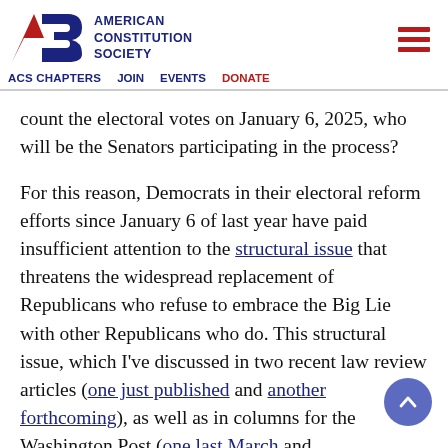American Constitution Society — ACS CHAPTERS | JOIN | EVENTS | DONATE
count the electoral votes on January 6, 2025, who will be the Senators participating in the process?
For this reason, Democrats in their electoral reform efforts since January 6 of last year have paid insufficient attention to the structural issue that threatens the widespread replacement of Republicans who refuse to embrace the Big Lie with other Republicans who do. This structural issue, which I've discussed in two recent law review articles (one just published and another forthcoming), as well as in columns for the Washington Post (one last March and